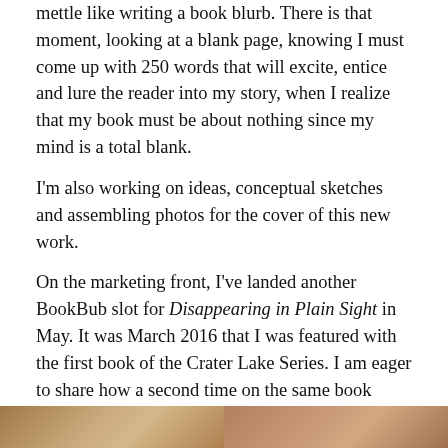mettle like writing a book blurb. There is that moment, looking at a blank page, knowing I must come up with 250 words that will excite, entice and lure the reader into my story, when I realize that my book must be about nothing since my mind is a total blank.
I'm also working on ideas, conceptual sketches and assembling photos for the cover of this new work.
On the marketing front, I've landed another BookBub slot for Disappearing in Plain Sight in May. It was March 2016 that I was featured with the first book of the Crater Lake Series. I am eager to share how a second time on the same book works out.
So, that's where I'm at. Where in the writing process do you find yourself?
[Figure (photo): Partial photo strip visible at the bottom of the page, showing what appears to be two images side by side.]